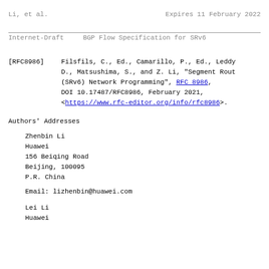Li, et al.                    Expires 11 February 2022
Internet-Draft        BGP Flow Specification for SRv6
[RFC8986]  Filsfils, C., Ed., Camarillo, P., Ed., Leddy, D., Matsushima, S., and Z. Li, "Segment Routing over IPv6 (SRv6) Network Programming", RFC 8986, DOI 10.17487/RFC8986, February 2021, <https://www.rfc-editor.org/info/rfc8986>.
Authors' Addresses
Zhenbin Li
Huawei
156 Beiqing Road
Beijing, 100095
P.R. China
Email: lizhenbin@huawei.com
Lei Li
Huawei